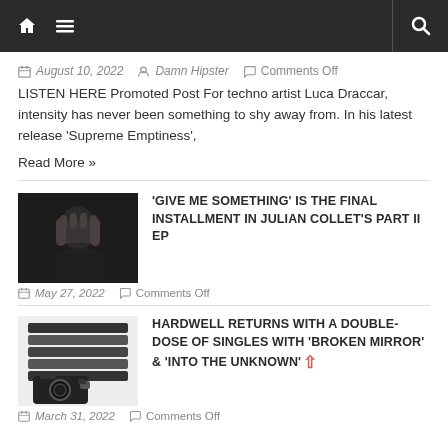Navigation bar with home icon, menu icon, and search icon
August 10, 2022  Damn Hipster  Comments Off
LISTEN HERE Promoted Post For techno artist Luca Draccar, intensity has never been something to shy away from. In his latest release 'Supreme Emptiness',
Read More »
'GIVE ME SOMETHING' IS THE FINAL INSTALLMENT IN JULIAN COLLET'S PART II EP
May 27, 2022  Comments Off
HARDWELL RETURNS WITH A DOUBLE-DOSE OF SINGLES WITH 'BROKEN MIRROR' & 'INTO THE UNKNOWN'
March 31, 2022  Comments Off